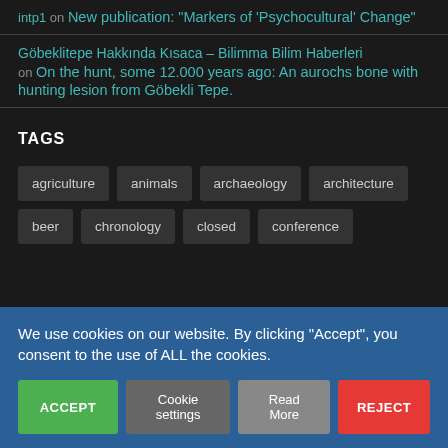intp1 on New publication: "Markers of 'Psychocultural' Change"
Göbeklitepe Hakkında Kısaca – Bilimma Bilim Haberleri on On the hunt, some 12.000 years ago: An aurochs bone with hunting lesion from Göbekli Tepe.
TAGS
agriculture
animals
archaeology
architecture
beer
chronology
closed
conference
We use cookies on our website. By clicking "Accept", you consent to the use of ALL the cookies.